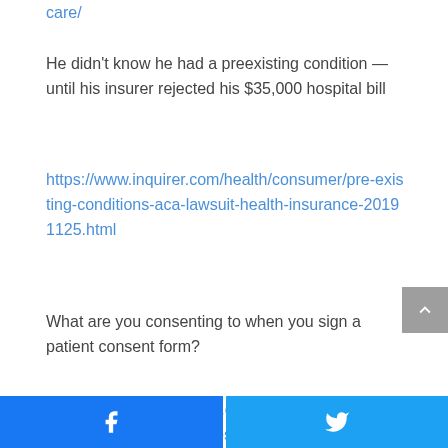care/
He didn't know he had a preexisting condition — until his insurer rejected his $35,000 hospital bill
https://www.inquirer.com/health/consumer/pre-existing-conditions-aca-lawsuit-health-insurance-20191125.html
What are you consenting to when you sign a patient consent form?
https://www.post-gazette.com/business/healthcare-business/2019/11/24/Hospital-patient-consent-form-general-anesthesia-medical-